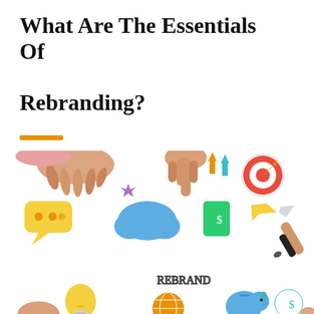What Are The Essentials Of Rebranding?
[Figure (illustration): A rebranding concept illustration showing two hands pointing at colorful icons (arrows, cloud, speech bubble, target, paper plane, piggy bank, globe, lightbulb, money bag magnifier) around large bold sketch-style text reading 'REBRAND', with additional hands holding a pen at the right side, and more icons visible at the bottom.]